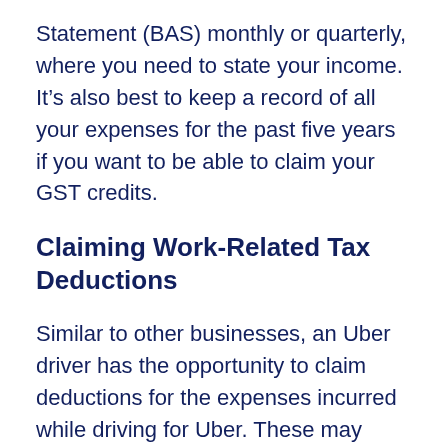Statement (BAS) monthly or quarterly, where you need to state your income. It's also best to keep a record of all your expenses for the past five years if you want to be able to claim your GST credits.
Claiming Work-Related Tax Deductions
Similar to other businesses, an Uber driver has the opportunity to claim deductions for the expenses incurred while driving for Uber. These may include costs related to holding,